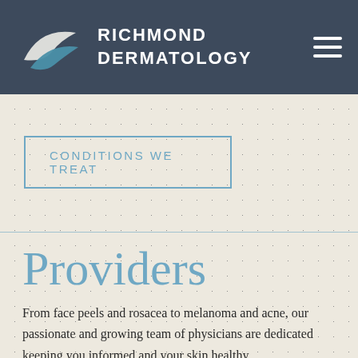[Figure (logo): Richmond Dermatology logo with two overlapping leaf/feather shapes in white and steel blue, alongside the text RICHMOND DERMATOLOGY in white on a dark slate background]
CONDITIONS WE TREAT
Providers
From face peels and rosacea to melanoma and acne, our passionate and growing team of physicians are dedicated keeping you informed and your skin healthy.